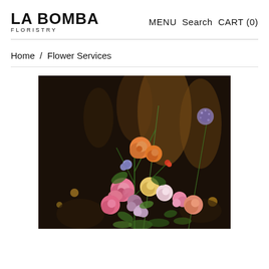LA BOMBA FLORISTRY   MENU  Search  CART (0)
Home  /  Flower Services
[Figure (photo): A floral arrangement with colorful flowers including pink roses, orange roses, purple allium, lavender blooms, yellow roses, and other mixed flowers against a dark background with warm bokeh lighting.]